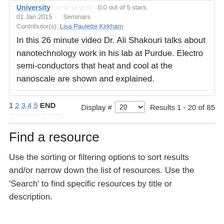University — 0.0 out of 5 stars
01 Jan 2015    Seminars
Contributor(s): Lisa Paulette Kirkham
In this 26 minute video Dr. Ali Shakouri talks about nanotechnology work in his lab at Purdue. Electro semi-conductors that heat and cool at the nanoscale are shown and explained.
1 2 3 4 5 END   Display # 20   Results 1 - 20 of 85
Find a resource
Use the sorting or filtering options to sort results and/or narrow down the list of resources. Use the 'Search' to find specific resources by title or description.